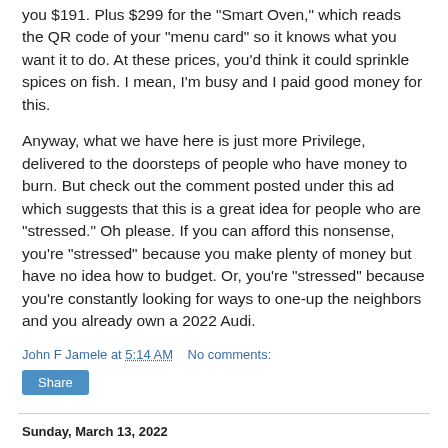you $191. Plus $299 for the "Smart Oven," which reads the QR code of your "menu card" so it knows what you want it to do. At these prices, you'd think it could sprinkle spices on fish. I mean, I'm busy and I paid good money for this.
Anyway, what we have here is just more Privilege, delivered to the doorsteps of people who have money to burn. But check out the comment posted under this ad which suggests that this is a great idea for people who are "stressed." Oh please. If you can afford this nonsense, you're "stressed" because you make plenty of money but have no idea how to budget. Or, you're "stressed" because you're constantly looking for ways to one-up the neighbors and you already own a 2022 Audi.
John F Jamele at 5:14 AM   No comments:
Share
Sunday, March 13, 2022
Walt Disney World Resort: Get Ready